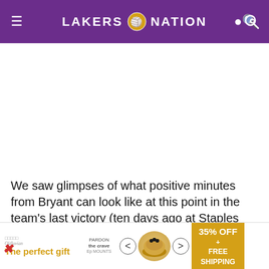LAKERS NATION
[Figure (other): Large white/blank image area (advertisement placeholder)]
We saw glimpses of what positive minutes from Bryant can look like at this point in the team's last victory (ten days ago at Staples over the Pistons)
[Figure (other): Advertisement banner: 'The perfect gift' with food bowl image and '35% OFF + FREE SHIPPING' gold box]